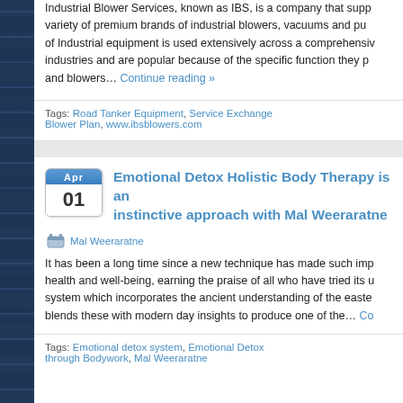Industrial Blower Services, known as IBS, is a company that supplies a variety of premium brands of industrial blowers, vacuums and pumps. This of Industrial equipment is used extensively across a comprehensive range of industries and are popular because of the specific function they provide... and blowers… Continue reading »
Tags: Road Tanker Equipment, Service Exchange Blower Plan, www.ibsblowers.com
Emotional Detox Holistic Body Therapy is an instinctive approach with Mal Weeraratne
Mal Weeraratne
It has been a long time since a new technique has made such impact on health and well-being, earning the praise of all who have tried its unique system which incorporates the ancient understanding of the eastern world and blends these with modern day insights to produce one of the… Co
Tags: Emotional detox system, Emotional Detox through Bodywork, Mal Weeraratne